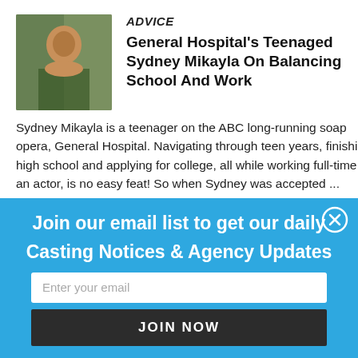ADVICE
General Hospital's Teenaged Sydney Mikayla On Balancing School And Work
Sydney Mikayla is a teenager on the ABC long-running soap opera, General Hospital. Navigating through teen years, finishing high school and applying for college, all while working full-time as an actor, is no easy feat! So when Sydney was accepted ...
[Figure (infographic): Blue popup banner with white text: 'Join our email list to get our daily Casting Notices & Agency Updates', an email input field, and a 'JOIN NOW' button. A close (X) button is in the top right corner.]